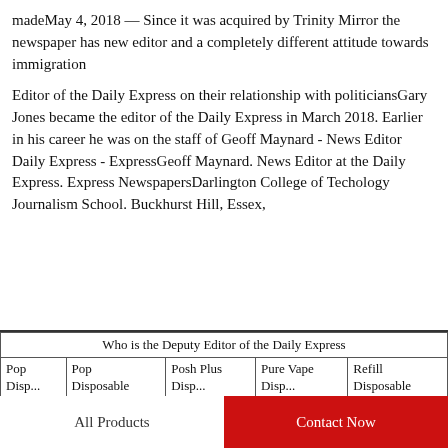madeMay 4, 2018 — Since it was acquired by Trinity Mirror the newspaper has new editor and a completely different attitude towards immigration
Editor of the Daily Express on their relationship with politiciansGary Jones became the editor of the Daily Express in March 2018. Earlier in his career he was on the staff of Geoff Maynard - News Editor Daily Express - ExpressGeoff Maynard. News Editor at the Daily Express. Express NewspapersDarlington College of Techology Journalism School. Buckhurst Hill, Essex,
| Who is the Deputy Editor of the Daily Express |
| --- |
| Pop Disposable | Pop Disposable | Posh Plus Disposable | Pure Vape Disposable | Refill Disposable |
All Products   Contact Now